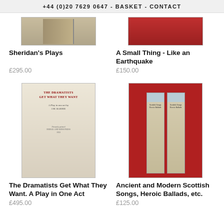+44 (0)20 7629 0647 - BASKET - CONTACT
[Figure (photo): Partial view of a book cover for Sheridan's Plays]
[Figure (photo): Partial view of a book cover for A Small Thing - Like an Earthquake, red background]
Sheridan's Plays
£295.00
A Small Thing - Like an Earthquake
£150.00
[Figure (photo): Title page of 'The Dramatists Get What They Want. A Play in One Act' by J.M. Barrie]
[Figure (photo): Two book spines for Ancient and Modern Scottish Songs, Heroic Ballads, etc. against a red background]
The Dramatists Get What They Want. A Play in One Act
£495.00
Ancient and Modern Scottish Songs, Heroic Ballads, etc.
£125.00